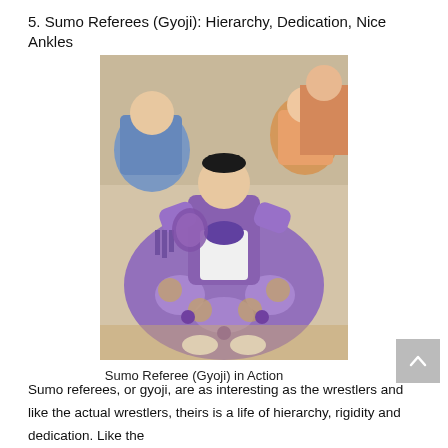5. Sumo Referees (Gyoji): Hierarchy, Dedication, Nice Ankles
[Figure (photo): A sumo referee (gyoji) in traditional elaborate purple and gold ceremonial robes, kneeling or crouching on the sumo ring, holding a fan. Spectators are visible in the background.]
Sumo Referee (Gyoji) in Action
Sumo referees, or gyoji, are as interesting as the wrestlers and like the actual wrestlers, theirs is a life of hierarchy, rigidity and dedication. Like the